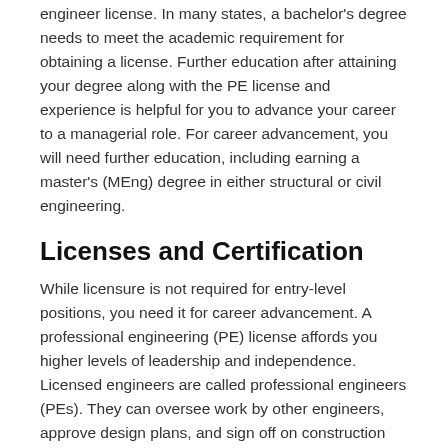engineer license. In many states, a bachelor's degree needs to meet the academic requirement for obtaining a license. Further education after attaining your degree along with the PE license and experience is helpful for you to advance your career to a managerial role. For career advancement, you will need further education, including earning a master's (MEng) degree in either structural or civil engineering.
Licenses and Certification
While licensure is not required for entry-level positions, you need it for career advancement. A professional engineering (PE) license affords you higher levels of leadership and independence. Licensed engineers are called professional engineers (PEs). They can oversee work by other engineers, approve design plans, and sign off on construction projects. State licensure requires: